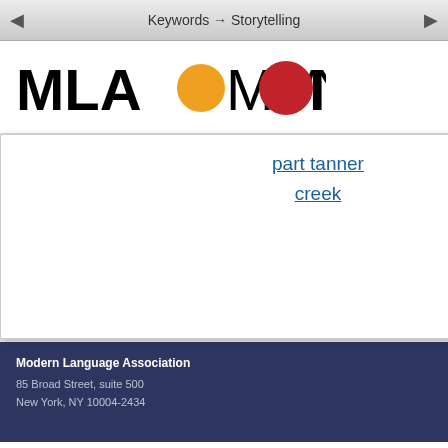Keywords → Storytelling
[Figure (logo): MLA Commons logo with orange and red speech bubble circles replacing the letter O]
part tanner creek
Modern Language Association
85 Broad Street, suite 500
New York, NY 10004-2434
This site is part of the MLA network on Humanities Commons. Explore other sites on this network or register to build your own.
Terms of Service
Privacy
CONTENTS
COMMENTS
ACTIVITY
Welcome
Description
How to Comment
Keywords
Access (George H. Williams)
Affect (Elizabeth Losh)
Annotation (Paul Schacht)
Archive (Lauren